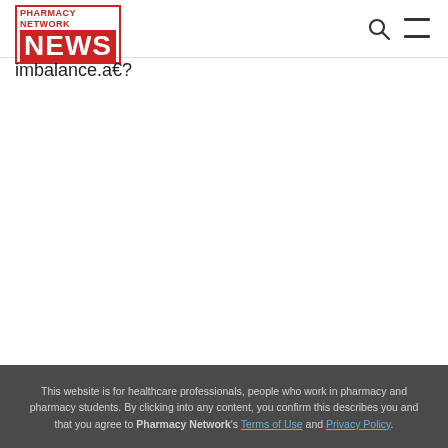PHARMACY NETWORK NEWS
imbalance.a€?
This website is for healthcare professionals, people who work in pharmacy and pharmacy students. By clicking into any content, you confirm this describes you and that you agree to Pharmacy Network's Terms of Use and Privacy Policy.